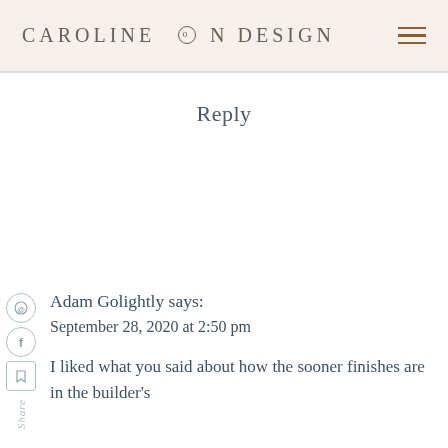CAROLINE ON DESIGN
Reply
Adam Golightly says:
September 28, 2020 at 2:50 pm

I liked what you said about how the sooner finishes are in the builder's